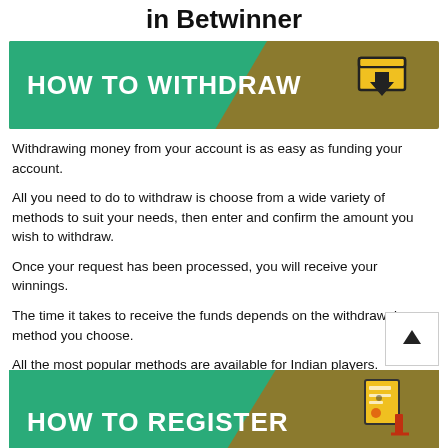in Betwinner
[Figure (infographic): HOW TO WITHDRAW banner with green and gold/olive background, download icon on right]
Withdrawing money from your account is as easy as funding your account.
All you need to do to withdraw is choose from a wide variety of methods to suit your needs, then enter and confirm the amount you wish to withdraw.
Once your request has been processed, you will receive your winnings.
The time it takes to receive the funds depends on the withdrawal method you choose.
All the most popular methods are available for Indian players.
[Figure (infographic): HOW TO REGISTER banner with green and gold/olive background, registration/document icon on right]